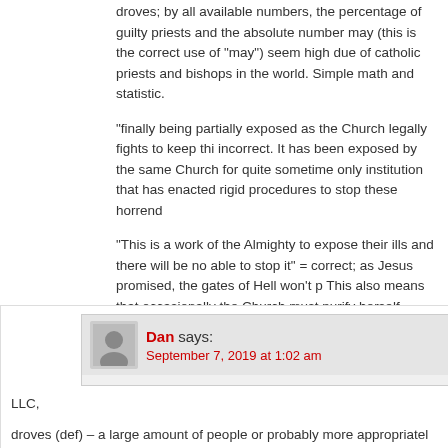droves; by all available numbers, the percentage of guilty priests and the absolute number may (this is the correct use of "may") seem high due of catholic priests and bishops in the world. Simple math and statistic.
“finally being partially exposed as the Church legally fights to keep thi incorrect. It has been exposed by the same Church for quite sometime only institution that has enacted rigid procedures to stop these horrend
“This is a work of the Almighty to expose their ills and there will be no able to stop it” = correct; as Jesus promised, the gates of Hell won’t p This also means that occasionally the Church must purify herself.
“If you’re not a catholic then you should consider becoming one” = cor become Catholic, in order to join Jesus in His heavenly home.
Have a blessed day, brother Dan.
Dan says:
September 7, 2019 at 1:02 am
LLC,
droves (def) – a large amount of people or probably more appropriatel large flock of animals